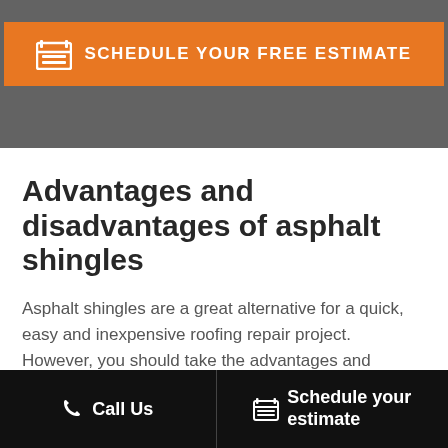[Figure (other): Orange call-to-action button with calendar icon and text 'SCHEDULE YOUR FREE ESTIMATE' on a dark gray background banner]
Advantages and disadvantages of asphalt shingles
Asphalt shingles are a great alternative for a quick, easy and inexpensive roofing repair project. However, you should take the advantages and disadvantages of this material into account before making the final decision on the materials for your roofing replacement.
Call Us | Schedule your estimate